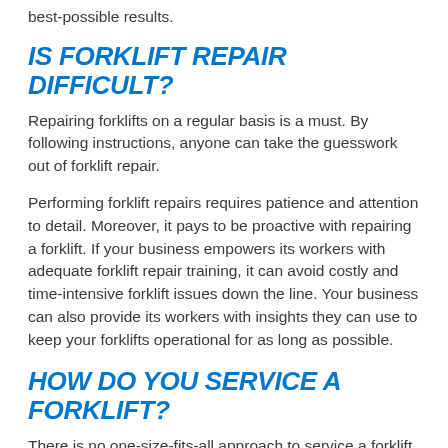best-possible results.
IS FORKLIFT REPAIR DIFFICULT?
Repairing forklifts on a regular basis is a must. By following instructions, anyone can take the guesswork out of forklift repair.
Performing forklift repairs requires patience and attention to detail. Moreover, it pays to be proactive with repairing a forklift. If your business empowers its workers with adequate forklift repair training, it can avoid costly and time-intensive forklift issues down the line. Your business can also provide its workers with insights they can use to keep your forklifts operational for as long as possible.
HOW DO YOU SERVICE A FORKLIFT?
There is no one-size-fits-all approach to service a forklift. Rather, a combination of daily and periodic inspections and meticulous planning is necessary to ensure a forklift